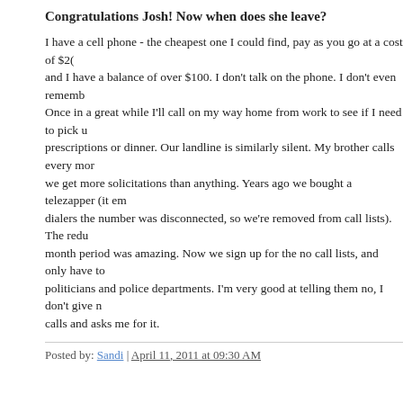Congratulations Josh! Now when does she leave?
I have a cell phone - the cheapest one I could find, pay as you go at a cost of $2( and I have a balance of over $100. I don't talk on the phone. I don't even rememb Once in a great while I'll call on my way home from work to see if I need to pick u prescriptions or dinner. Our landline is similarly silent. My brother calls every mor we get more solicitations than anything. Years ago we bought a telezapper (it em dialers the number was disconnected, so we're removed from call lists). The redu month period was amazing. Now we sign up for the no call lists, and only have to politicians and police departments. I'm very good at telling them no, I don't give n calls and asks me for it.
Posted by: Sandi | April 11, 2011 at 09:30 AM
I don't remember life without area codes. I couldn't reach our wall mounted black at least 9 or 10 years old. All numbers on our local exchange could be dialed usin only called one of two numbers one of them being 6-3942, my grandparents. We phone until 1976 when my parents remodeled and the phone location had to mov beige rotary wall phone which went into the new kitchen. They refused to get tou cost more money both in phone rental and service fees. They had dial phones in
These days it seems no one takes the time to memorize phone numbers. Once y either put it on speed dial or look it up in your digital phone book. My daughter, w anybodies number. All she remembers are the memory locations.
Posted by: peach | April 11, 2011 at 09:33 AM
Rod, I didn't realize that's what the "23" meant: Beechmont. Now it all becomes